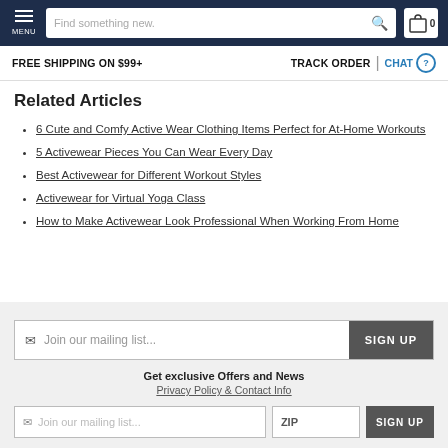MENU | Find something new. | 0
FREE SHIPPING ON $99+ | TRACK ORDER | CHAT
Related Articles
6 Cute and Comfy Active Wear Clothing Items Perfect for At-Home Workouts
5 Activewear Pieces You Can Wear Every Day
Best Activewear for Different Workout Styles
Activewear for Virtual Yoga Class
How to Make Activewear Look Professional When Working From Home
Join our mailing list... SIGN UP
Get exclusive Offers and News
Privacy Policy & Contact Info